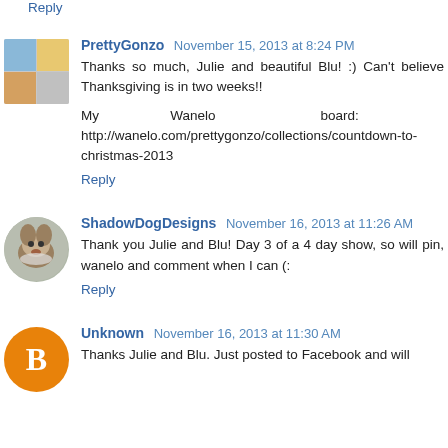Reply
PrettyGonzo November 15, 2013 at 8:24 PM
Thanks so much, Julie and beautiful Blu! :) Can't believe Thanksgiving is in two weeks!!
My Wanelo board: http://wanelo.com/prettygonzo/collections/countdown-to-christmas-2013
Reply
ShadowDogDesigns November 16, 2013 at 11:26 AM
Thank you Julie and Blu! Day 3 of a 4 day show, so will pin, wanelo and comment when I can (:
Reply
Unknown November 16, 2013 at 11:30 AM
Thanks Julie and Blu. Just posted to Facebook and will